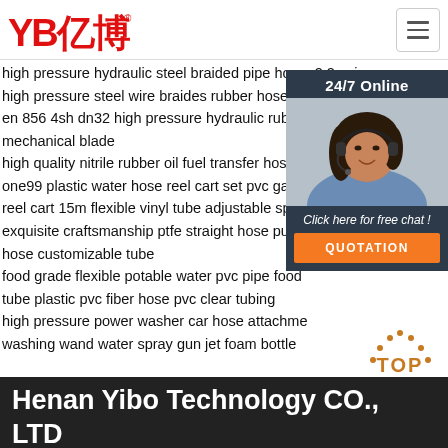[Figure (logo): YB亿博 logo in red with registered trademark symbol]
high pressure hydraulic steel braided pipe hose r2 2sn iso cer
high pressure steel wire braides rubber hose b
en 856 4sh dn32 high pressure hydraulic rubbe
mechanical blade
high quality nitrile rubber oil fuel transfer hose
one99 plastic water hose reel cart set pvc gard
reel cart 15m flexible vinyl tube adjustable spra
exquisite craftsmanship ptfe straight hose pure
hose customizable tube
food grade flexible potable water pvc pipe food
tube plastic pvc fiber hose pvc clear tubing
high pressure power washer car hose attachme
washing wand water spray gun jet foam bottle
[Figure (infographic): 24/7 Online customer service widget with woman wearing headset photo, 'Click here for free chat!' text and orange QUOTATION button]
[Figure (other): Orange dotted arc TOP button graphic in upper right of footer area]
Henan Yibo Technology CO., LTD